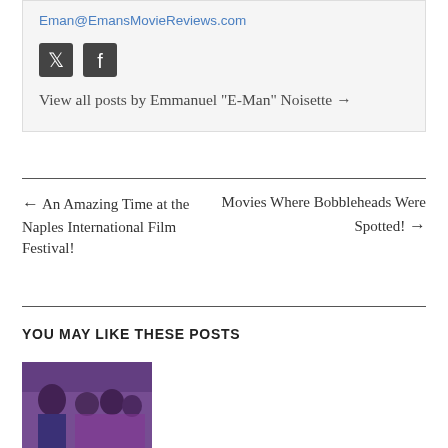Eman@EmansMovieReviews.com
[Figure (illustration): Twitter and Facebook social media icons]
View all posts by Emmanuel "E-Man" Noisette →
← An Amazing Time at the Naples International Film Festival!
Movies Where Bobbleheads Were Spotted! →
YOU MAY LIKE THESE POSTS
[Figure (photo): A group of people in a scene, with a man in a suit visible prominently, purple/violet tinted image]